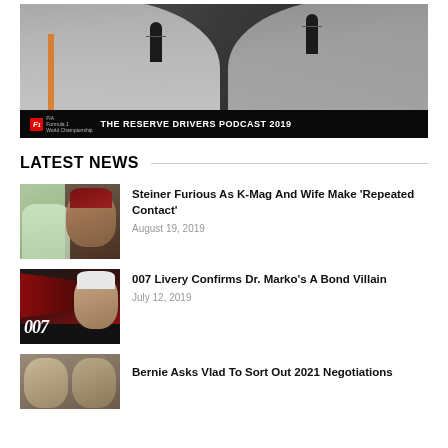[Figure (photo): Two young men sitting at microphones with F1 FIA branding. Banner reads THE RESERVE DRIVERS PODCAST 2019.]
LATEST NEWS
[Figure (photo): Thumbnail image showing a wedding couple on the left and Steiner on the right.]
Steiner Furious As K-Mag And Wife Make 'Repeated Contact'
August 19, 2019
[Figure (photo): Thumbnail showing a 007-branded Red Bull car with Dr. Marko.]
007 Livery Confirms Dr. Marko's A Bond Villain
July 12, 2019
[Figure (photo): Thumbnail showing Bernie Ecclestone and Vladimir Putin.]
Bernie Asks Vlad To Sort Out 2021 Negotiations